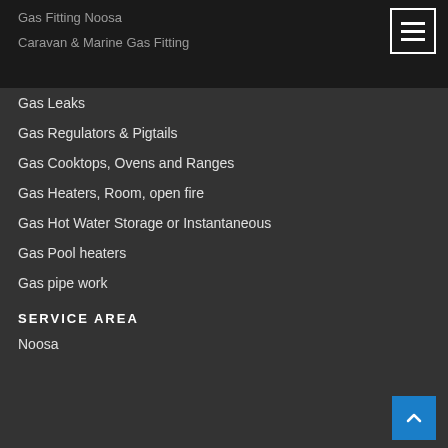Gas Fitting Noosa
Caravan & Marine Gas Fitting
Gas Leaks
Gas Regulators & Pigtails
Gas Cooktops, Ovens and Ranges
Gas Heaters, Room, open fire
Gas Hot Water Storage or Instantaneous
Gas Pool heaters
Gas pipe work
SERVICE AREA
Noosa